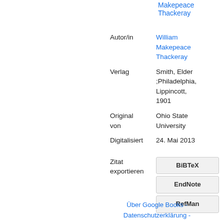| Label | Value |
| --- | --- |
|  | Makepeace Thackeray |
| Autor/in | William Makepeace Thackeray |
| Verlag | Smith, Elder ;Philadelphia, Lippincott, 1901 |
| Original von | Ohio State University |
| Digitalisiert | 24. Mai 2013 |
| Zitat exportieren | BiBTeX / EndNote / RefMan |
Über Google Books - Datenschutzerklärung -